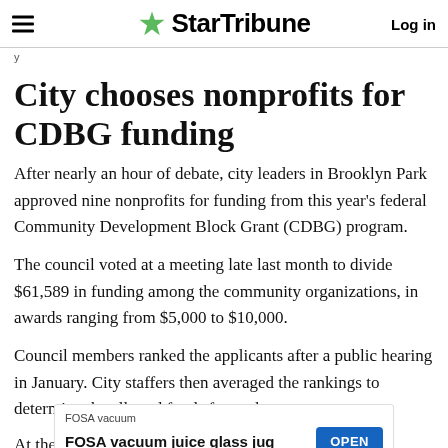StarTribune | Log in
y
City chooses nonprofits for CDBG funding
After nearly an hour of debate, city leaders in Brooklyn Park approved nine nonprofits for funding from this year's federal Community Development Block Grant (CDBG) program.
The council voted at a meeting late last month to divide $61,589 in funding among the community organizations, in awards ranging from $5,000 to $10,000.
Council members ranked the applicants after a public hearing in January. City staffers then averaged the rankings to determine the allotted funds for each group.
At the c… hether
[Figure (screenshot): Advertisement overlay: FOSA vacuum - FOSA vacuum juice glass jug, with an OPEN button in blue]